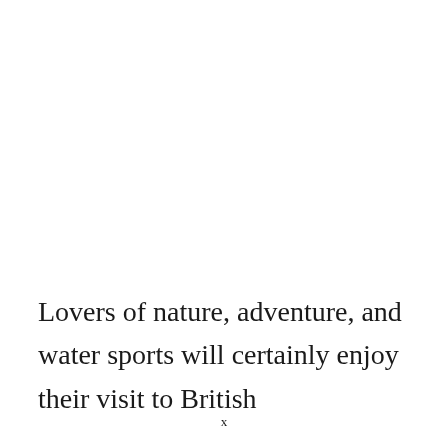Lovers of nature, adventure, and water sports will certainly enjoy their visit to British
x